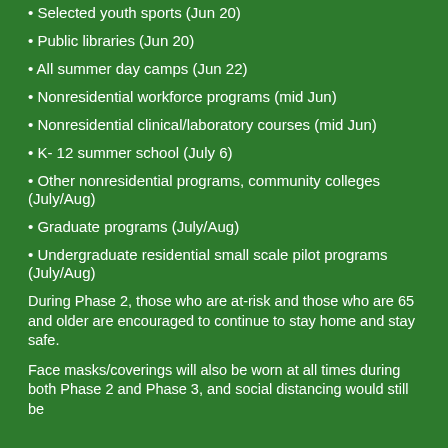• Selected youth sports (Jun 20)
• Public libraries (Jun 20)
• All summer day camps (Jun 22)
• Nonresidential workforce programs (mid Jun)
• Nonresidential clinical/laboratory courses (mid Jun)
• K- 12 summer school (July 6)
• Other nonresidential programs, community colleges (July/Aug)
• Graduate programs (July/Aug)
• Undergraduate residential small scale pilot programs (July/Aug)
During Phase 2, those who are at-risk and those who are 65 and older are encouraged to continue to stay home and stay safe.
Face masks/coverings will also be worn at all times during both Phase 2 and Phase 3, and social distancing would still be